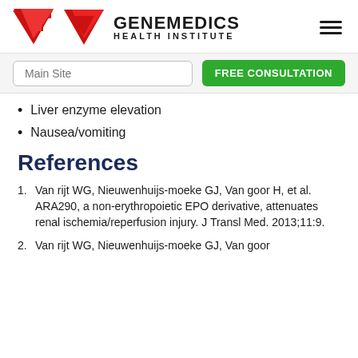GENEMEDICS HEALTH INSTITUTE
Liver enzyme elevation
Nausea/vomiting
References
1. Van rijt WG, Nieuwenhuijs-moeke GJ, Van goor H, et al. ARA290, a non-erythropoietic EPO derivative, attenuates renal ischemia/reperfusion injury. J Transl Med. 2013;11:9.
2. Van rijt WG, Nieuwenhuijs-moeke GJ, Van goor